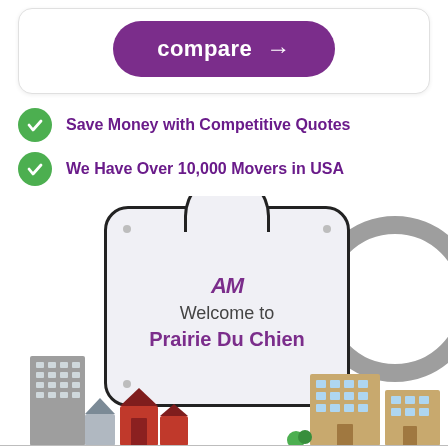[Figure (other): Purple rounded button with text 'compare →' inside a white card]
Save Money with Competitive Quotes
We Have Over 10,000 Movers in USA
[Figure (illustration): Welcome sign illustration reading 'AM Welcome to Prairie Du Chien' with city buildings and road in background]